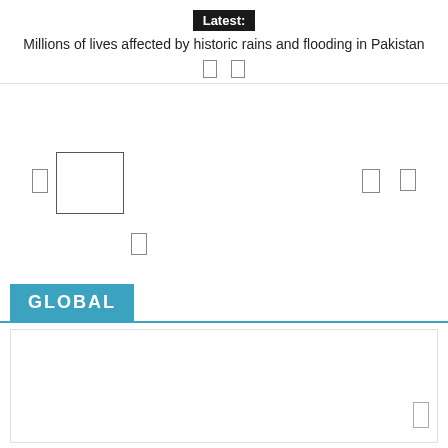Latest:
Millions of lives affected by historic rains and flooding in Pakistan
GLOBAL
[Figure (other): Content image placeholder area below GLOBAL section header]